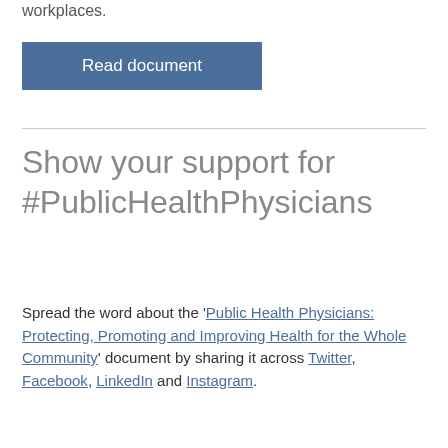workplaces.
Read document
Show your support for #PublicHealthPhysicians
Spread the word about the 'Public Health Physicians: Protecting, Promoting and Improving Health for the Whole Community' document by sharing it across Twitter, Facebook, LinkedIn and Instagram.